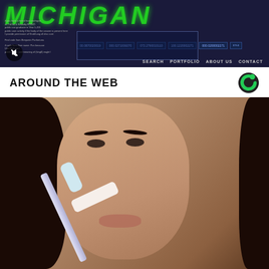[Figure (screenshot): Screenshot of Michigan website with dark navy background, green bold italic MICHIGAN header text, navigation links (SEARCH, PORTFOLIO, ABOUT US, CONTACT), data table overlay, mute button, and text content on the left side]
AROUND THE WEB
[Figure (photo): Close-up photo of a young woman with long dark hair applying toothpaste to her nose with a toothbrush, beauty/skincare hack content]